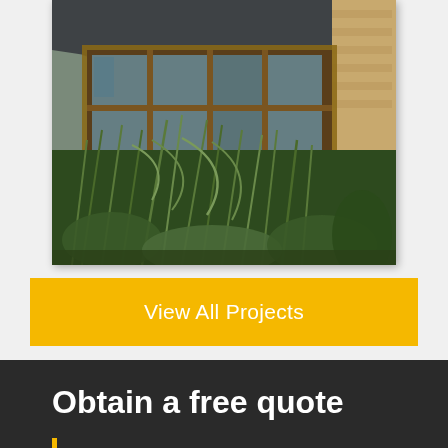[Figure (photo): Photo of a conservatory or sunroom addition on a house, with brown wooden window frames and a slate roof, surrounded by lush green plants and ornamental grasses. Brick wall visible on the right side.]
View All Projects
Obtain a free quote